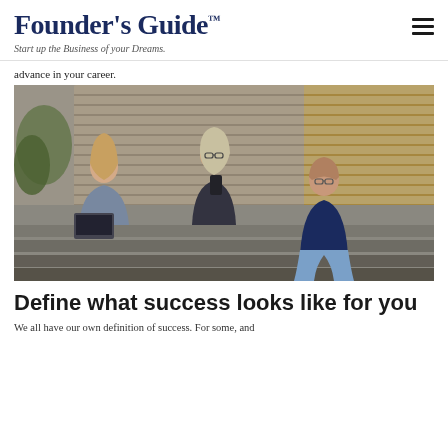Founder's Guide™
Start up the Business of your Dreams.
advance in your career.
[Figure (photo): Three young people (two women and one man) sitting on outdoor steps in an urban setting. One woman holds a laptop, the other holds a smartphone, and the man leans in listening. A modern building with horizontal louvered panels is in the background.]
Define what success looks like for you
We all have our own definition of success. For some, and